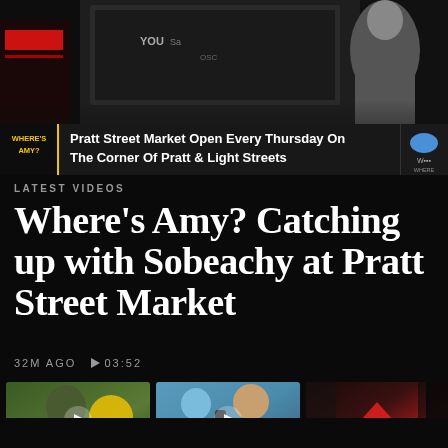[Figure (screenshot): Dark TV news studio background with ticker bar showing 'Pratt Street Market Open Every Thursday On The Corner Of Pratt & Light Streets' with WHERE'S AMY? branding on left and CBS logo on right]
LATEST VIDEOS
Where's Amy? Catching up with Sobeachy at Pratt Street Market
32M AGO  ▶ 03:52
[Figure (screenshot): Video thumbnail: man in green shirt outdoors near ShopRite with play button overlay. Lower ticker: Klein's ShopRite Of Forest Hill Launches Solar Power System]
[Figure (screenshot): Video thumbnail: two women outdoors, one in blue shirt, reporter with microphone. Lower ticker: Pratt Street Market Open Every Thursday On The Corner Of Pratt & Light Streets]
[Figure (screenshot): Video thumbnail: dark scene with red tent. Partially visible (cropped right edge)]
Klein's ShopRite of Forest...
Where's Amy? Checking out...
Coffee W...